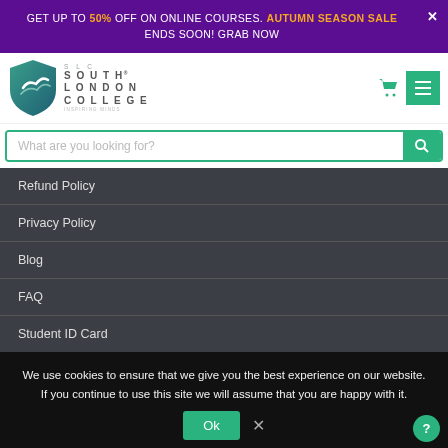GET UP TO 50% OFF ON ONLINE COURSES. AUTUMN SEASON SALE ENDS SOON! GRAB NOW
[Figure (logo): South London College shield logo with SLC text and tagline 'Inspiring Minds']
What are you looking for?
Refund Policy
Privacy Policy
Blog
FAQ
Student ID Card
We use cookies to ensure that we give you the best experience on our website. If you continue to use this site we will assume that you are happy with it.